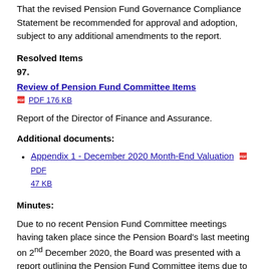That the revised Pension Fund Governance Compliance Statement be recommended for approval and adoption, subject to any additional amendments to the report.
Resolved Items
97.
Review of Pension Fund Committee Items  PDF 176 KB
Report of the Director of Finance and Assurance.
Additional documents:
Appendix 1 - December 2020 Month-End Valuation  PDF 47 KB
Minutes:
Due to no recent Pension Fund Committee meetings having taken place since the Pension Board's last meeting on 2nd December 2020, the Board was presented with a report outlining the Pension Fund Committee items due to be considered at the next meeting scheduled for 24th March 2021.  Members' attention was drawn to a number of reports, such as the review of the Pension Fund's Investment Strategy as well as the Pension Fund Communications Policy and Pension Fund Governance Compliance Statement, which